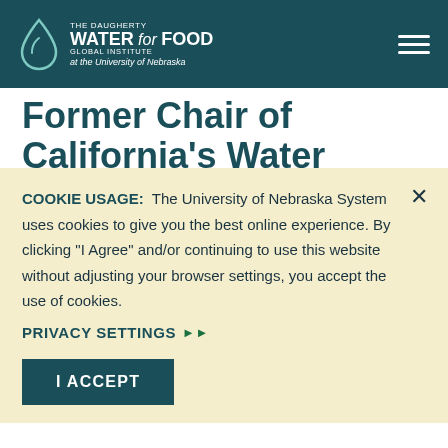THE DAUGHERTY WATER for FOOD GLOBAL INSTITUTE at the University of Nebraska
Former Chair of California's Water Board joins Daugherty Water for Food Global Institute's Board of
COOKIE USAGE: The University of Nebraska System uses cookies to give you the best online experience. By clicking "I Agree" and/or continuing to use this website without adjusting your browser settings, you accept the use of cookies.
PRIVACY SETTINGS ▶▶
I ACCEPT